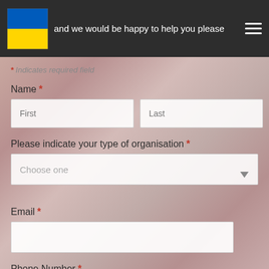and we would be happy to help you please
* Indicates required field
Name *
First
Last
Please indicate your type of organisation *
Choose one
Email *
Phone Number *